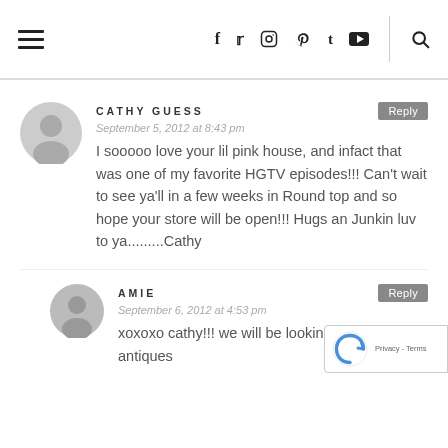≡  f  t  [instagram]  [pinterest]  t  [youtube]  |  [search]
CATHY GUESS
September 5, 2012 at 8:43 pm
I sooooo love your lil pink house, and infact that was one of my favorite HGTV episodes!!! Can't wait to see ya'll in a few weeks in Round top and so hope your store will be open!!! Hugs an Junkin luv to ya.........Cathy
AMIE
September 6, 2012 at 4:53 pm
xoxoxo cathy!!! we will be lookin' for ya! antiques